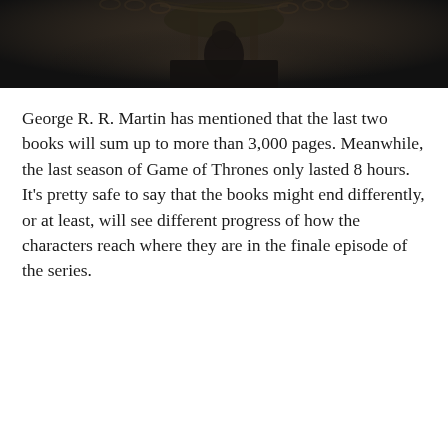[Figure (photo): Dark image showing what appears to be chains or a throne-like structure against a very dark background]
George R. R. Martin has mentioned that the last two books will sum up to more than 3,000 pages. Meanwhile, the last season of Game of Thrones only lasted 8 hours. It’s pretty safe to say that the books might end differently, or at least, will see different progress of how the characters reach where they are in the finale episode of the series.